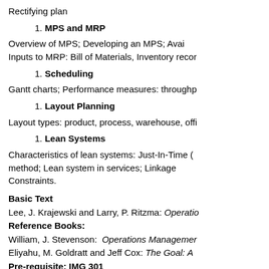Rectifying plan
1. MPS and MRP
Overview of MPS; Developing an MPS; Avai Inputs to MRP: Bill of Materials, Inventory recor
1. Scheduling
Gantt charts; Performance measures: throughp
1. Layout Planning
Layout types: product, process, warehouse, offi
1. Lean Systems
Characteristics of lean systems: Just-In-Time (J method; Lean system in services; Linkage Constraints.
Basic Text
Lee, J. Krajewski and Larry, P. Ritzma: Operatio
Reference Books:
William, J. Stevenson: Operations Managemer
Eliyahu, M. Goldratt and Jeff Cox: The Goal: A
Pre-requisite: IMG 301
IMG 403 Materials Management
S h d l d C d it